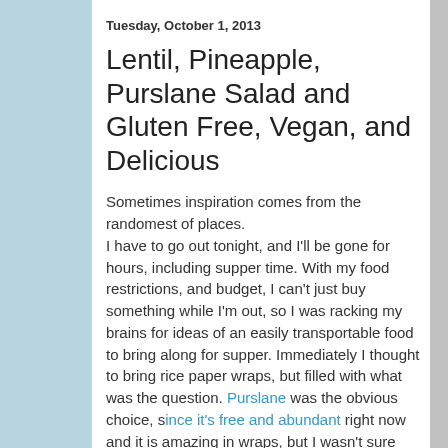Tuesday, October 1, 2013
Lentil, Pineapple, Purslane Salad and Gluten Free, Vegan, and Delicious
Sometimes inspiration comes from the randomest of places.
I have to go out tonight, and I'll be gone for hours, including supper time. With my food restrictions, and budget, I can't just buy something while I'm out, so I was racking my brains for ideas of an easily transportable food to bring along for supper. Immediately I thought to bring rice paper wraps, but filled with what was the question. Purslane was the obvious choice, since it's free and abundant right now and it is amazing in wraps, but I wasn't sure what to put in it. Lentils are frugal, so… why not purslane and lentils? And the last ingredient was decided upon when I saw the cans of pineapple that I bought on sale yesterday at the grocery store, and hadn't had a chance yet to put away. I thought pineapples would add a sweetness and juiciness that would be much appreciated together with lentils.
This recipe, out of the randomest inspiration, ended up so